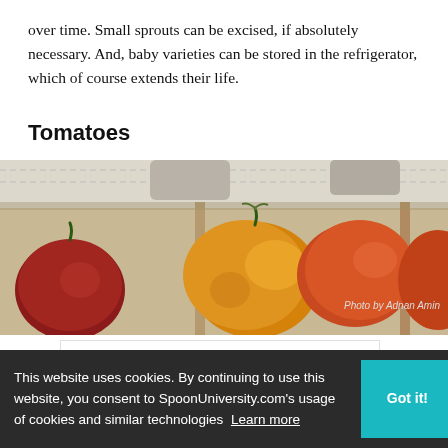over time. Small sprouts can be excised, if absolutely necessary. And, baby varieties can be stored in the refrigerator, which of course extends their life.
Tomatoes
[Figure (photo): Heirloom tomatoes arranged in a cardboard box, showing yellow, orange, red and green varieties packed together]
[Figure (other): Walgreens Photo advertisement banner: 'Delivered in as Little as 1 Hr' with Walgreens logo and arrow icon]
This website uses cookies. By continuing to use this website, you consent to SpoonUniversity.com's usage of cookies and similar technologies Learn more
Photo by Adnan Amin